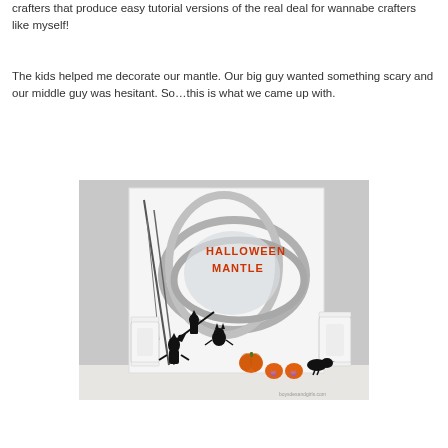crafters that produce easy tutorial versions of the real deal for wannabe crafters like myself!
The kids helped me decorate our mantle. Our big guy wanted something scary and our middle guy was hesitant. So…this is what we came up with.
[Figure (photo): Photo of a Halloween mantle decoration featuring a silver swirled mirror with orange text reading 'HALLOWEEN MANTLE', black witch silhouettes, an orange pumpkin, small glowing jack-o-lanterns, a crow, and white lanterns on either side.]